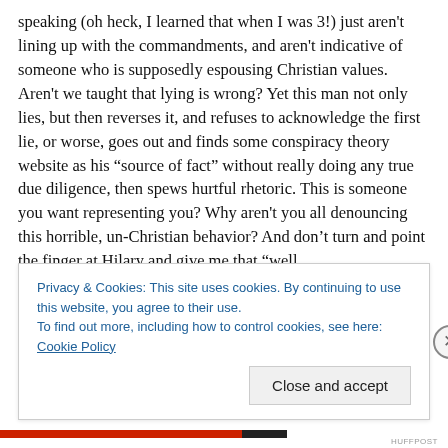speaking (oh heck, I learned that when I was 3!) just aren't lining up with the commandments, and aren't indicative of someone who is supposedly espousing Christian values. Aren't we taught that lying is wrong? Yet this man not only lies, but then reverses it, and refuses to acknowledge the first lie, or worse, goes out and finds some conspiracy theory website as his “source of fact” without really doing any true due diligence, then spews hurtful rhetoric. This is someone you want representing you? Why aren't you all denouncing this horrible, un-Christian behavior? And don’t turn and point the finger at Hilary and give me that “well
Privacy & Cookies: This site uses cookies. By continuing to use this website, you agree to their use.
To find out more, including how to control cookies, see here: Cookie Policy